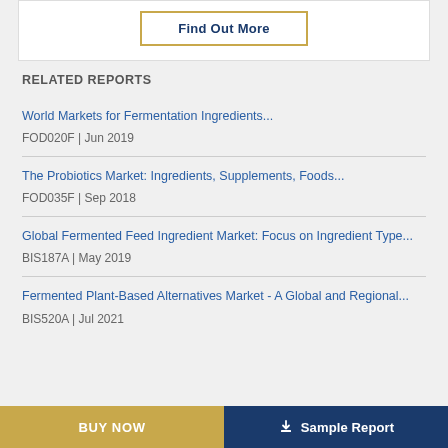Find Out More
RELATED REPORTS
World Markets for Fermentation Ingredients...
FOD020F | Jun 2019
The Probiotics Market: Ingredients, Supplements, Foods...
FOD035F | Sep 2018
Global Fermented Feed Ingredient Market: Focus on Ingredient Type...
BIS187A | May 2019
Fermented Plant-Based Alternatives Market - A Global and Regional...
BIS520A | Jul 2021
BUY NOW    Sample Report